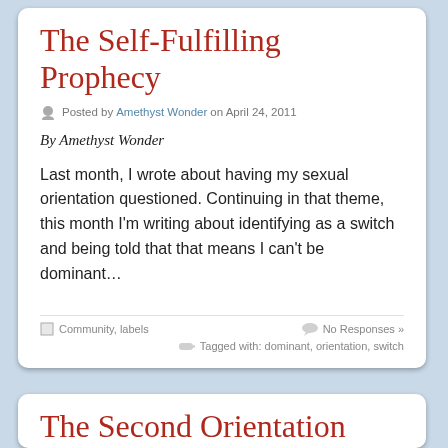The Self-Fulfilling Prophecy
Posted by Amethyst Wonder on April 24, 2011
By Amethyst Wonder
Last month, I wrote about having my sexual orientation questioned. Continuing in that theme, this month I’m writing about identifying as a switch and being told that that means I can’t be dominant…
Community, labels
No Responses »
Tagged with: dominant, orientation, switch
The Second Orientation